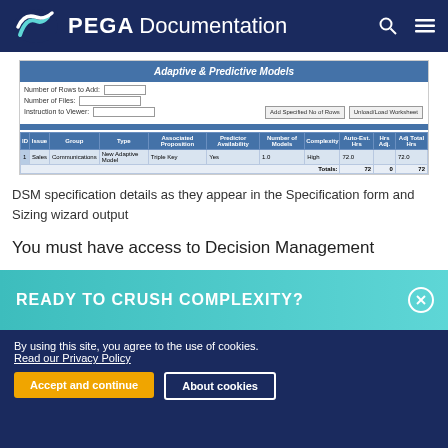PEGA Documentation
[Figure (screenshot): Screenshot of Adaptive & Predictive Models specification table in Pega DSM. Shows a configuration form with fields for Number of Rows to Add, Number of Files, Instruction to Viewer, buttons for Add Specified No of Rows and Unload/Load Worksheet, and a data grid with columns: ID, Issue, Group, Type, Associated Proposition, Predictor Availability, Number of Models, Complexity, Auto-Est. Hrs, Hrs Adj, Adj Total Hrs. One row shows: 1, Sales, Communications, New Adaptive Model, Triple Key, Yes, 1.0, High, 72.0, 0, 72.0. Totals row: 72, 0, 72.]
DSM specification details as they appear in the Specification form and Sizing wizard output
You must have access to Decision Management
READY TO CRUSH COMPLEXITY?
By using this site, you agree to the use of cookies. Read our Privacy Policy
Accept and continue
About cookies